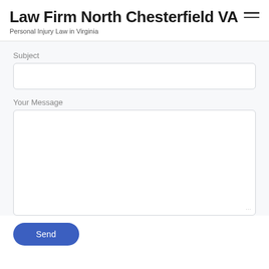Law Firm North Chesterfield VA — Personal Injury Law in Virginia
Subject
Your Message
Send